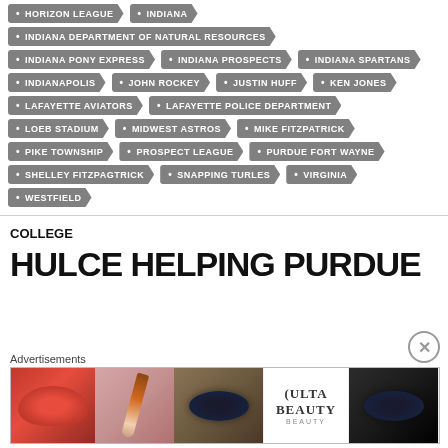HORIZON LEAGUE
INDIANA
INDIANA DEPARTMENT OF NATURAL RESOURCES
INDIANA PONY EXPRESS
INDIANA PROSPECTS
INDIANA SPARTANS
INDIANAPOLIS
JOHN ROCKEY
JUSTIN HUFF
KEN JONES
LAFAYETTE AVIATORS
LAFAYETTE POLICE DEPARTMENT
LOEB STADIUM
MIDWEST ASTROS
MIKE FITZPATRICK
PIKE TOWNSHIP
PROSPECT LEAGUE
PURDUE FORT WAYNE
SHELLEY FITZPAGTRICK
SNAPPING TURLES
VIRGINIA
WESTFIELD
COLLEGE
HULCE HELPING PURDUE
[Figure (photo): Ulta Beauty advertisement banner with makeup images including lips, brush, eye, Ulta logo, dark eye, and SHOP NOW call to action]